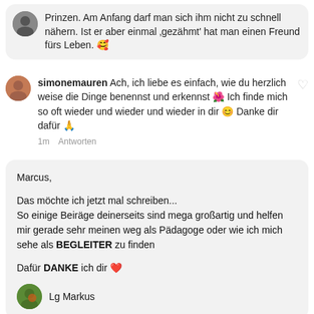Prinzen. Am Anfang darf man sich ihm nicht zu schnell nähern. Ist er aber einmal 'gezähmt' hat man einen Freund fürs Leben. 🥰
simonemauren Ach, ich liebe es einfach, wie du herzlich weise die Dinge benennst und erkennst 🌺 Ich finde mich so oft wieder und wieder und wieder in dir 😊 Danke dir dafür 🙏
1m   Antworten
Marcus,

Das möchte ich jetzt mal schreiben...
So einige Beiräge deinerseits sind mega großartig und helfen mir gerade sehr meinen weg als Pädagoge oder wie ich mich sehe als BEGLEITER zu finden

Dafür DANKE ich dir ❤

Lg Markus